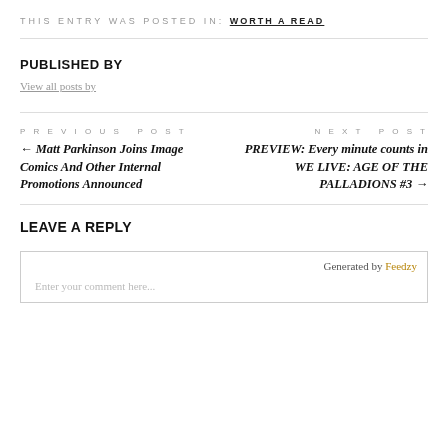THIS ENTRY WAS POSTED IN: WORTH A READ
PUBLISHED BY
View all posts by
PREVIOUS POST
← Matt Parkinson Joins Image Comics And Other Internal Promotions Announced
NEXT POST
PREVIEW: Every minute counts in WE LIVE: AGE OF THE PALLADIONS #3 →
LEAVE A REPLY
Enter your comment here...
Generated by Feedzy